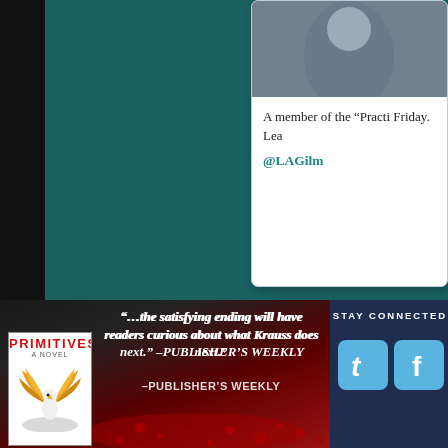[Figure (screenshot): Top section with teal/dark green background and a white card partially visible on the right side showing a photo and text about 'A member' and 'the Practi' and 'Friday. Lea' and '@LAGilm']
A member of the “Practi Friday. Lea
@LAGilm
STAY CONNECTED
[Figure (illustration): Book advertisement with dark and red background showing quote: '...the satisfying ending will have readers curious about what Krauss does next.' -PUBLISHER'S WEEKLY, with book cover of PRIMITIVES novel featuring a phoenix bird]
“…the satisfying ending will have readers curious about what Krauss does next.” –PUBLISHER’S WEEKLY
[Figure (logo): Social media icons: Twitter bird icon and Facebook icon in light blue rounded squares]